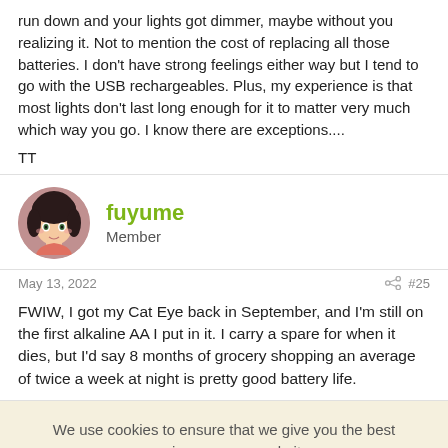run down and your lights got dimmer, maybe without you realizing it. Not to mention the cost of replacing all those batteries. I don't have strong feelings either way but I tend to go with the USB rechargeables. Plus, my experience is that most lights don't last long enough for it to matter very much which way you go. I know there are exceptions....
TT
fuyume
Member
May 13, 2022
#25
FWIW, I got my Cat Eye back in September, and I'm still on the first alkaline AA I put in it. I carry a spare for when it dies, but I'd say 8 months of grocery shopping an average of twice a week at night is pretty good battery life.
We use cookies to ensure that we give you the best experience on our website.
Accept
Learn More...